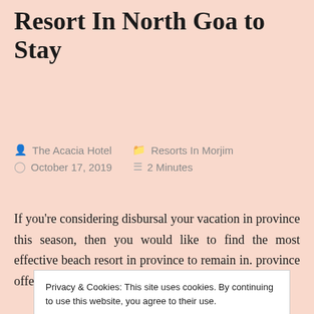Resort In North Goa to Stay
The Acacia Hotel   Resorts In Morjim   October 17, 2019   2 Minutes
If you're considering disbursal your vacation in province this season, then you would like to find the most effective beach resort in province to remain in. province offers you a myriad of exciting activities that
Privacy & Cookies: This site uses cookies. By continuing to use this website, you agree to their use. To find out more, including how to control cookies, see here: Cookie Policy
spot. From the nice and delightful beach to the natural